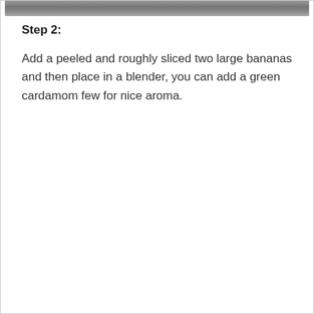[Figure (photo): A photo strip at the top of the page showing a partially visible image, likely food or ingredients.]
Step 2:
Add a peeled and roughly sliced two large bananas and then place in a blender, you can add a green cardamom few for nice aroma.